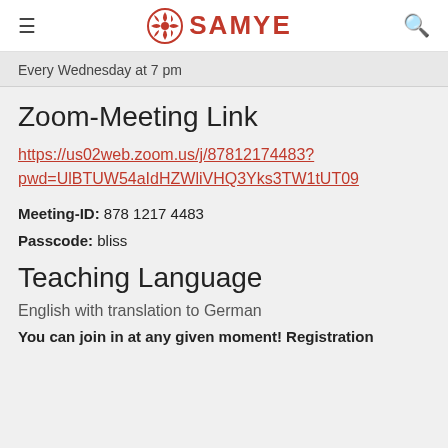SAMYE
Every Wednesday at 7 pm
Zoom-Meeting Link
https://us02web.zoom.us/j/87812174483?pwd=UlBTUW54aIdHZWliVHQ3Yks3TW1tUT09
Meeting-ID: 878 1217 4483
Passcode: bliss
Teaching Language
English with translation to German
You can join in at any given moment! Registration